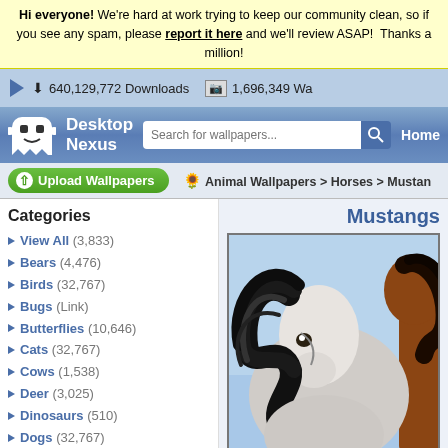Hi everyone! We're hard at work trying to keep our community clean, so if you see any spam, please report it here and we'll review ASAP! Thanks a million!
640,129,772 Downloads   1,696,349 Wa...
[Figure (screenshot): Desktop Nexus logo: white ghost-like character icon with smiley face]
Desktop Nexus
Search for wallpapers...
Home
Upload Wallpapers
Animal Wallpapers > Horses > Mustan...
Categories
View All (3,833)
Bears (4,476)
Birds (32,767)
Bugs (Link)
Butterflies (10,646)
Cats (32,767)
Cows (1,538)
Deer (3,025)
Dinosaurs (510)
Dogs (32,767)
Dolphins (1,203)
Ducks (1,528)
Elephants (1,302)
Fish (3,164)
Frogs (5,712)
Mustangs
[Figure (photo): Close-up photo of mustang horses with flowing black and brown manes against a blue sky background]